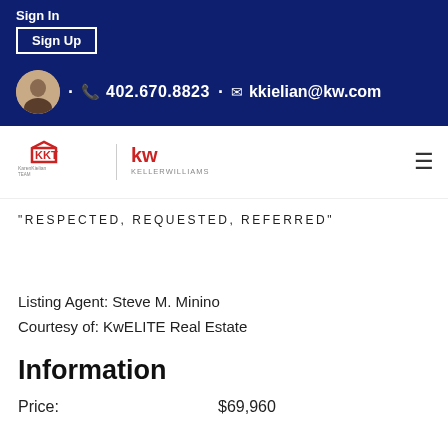Sign In
Sign Up
402.670.8823 · kkielian@kw.com
[Figure (logo): KKT Karen Kielian Team and Keller Williams logos]
"RESPECTED, REQUESTED, REFERRED"
Listing Agent: Steve M. Minino
Courtesy of: KwELITE Real Estate
Information
Price: $69,960